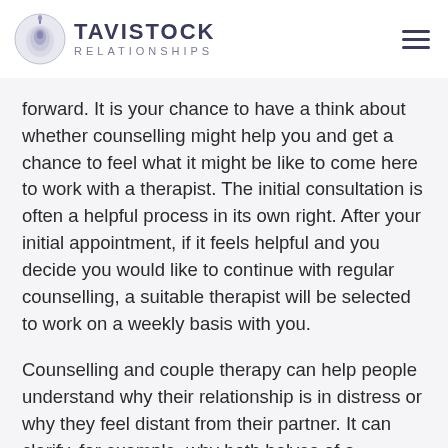TAVISTOCK RELATIONSHIPS
forward. It is your chance to have a think about whether counselling might help you and get a chance to feel what it might be like to come here to work with a therapist. The initial consultation is often a helpful process in its own right. After your initial appointment, if it feels helpful and you decide you would like to continue with regular counselling, a suitable therapist will be selected to work on a weekly basis with you.
Counselling and couple therapy can help people understand why their relationship is in distress or why they feel distant from their partner. It can clarify, for example, why both halves of a